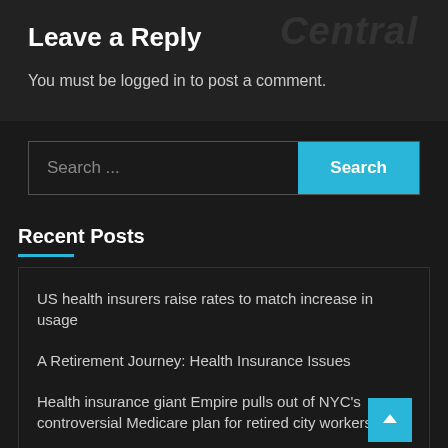Leave a Reply
You must be logged in to post a comment.
Search ...
Recent Posts
US health insurers raise rates to match increase in usage
A Retirement Journey: Health Insurance Issues
Health insurance giant Empire pulls out of NYC's controversial Medicare plan for retired city workers